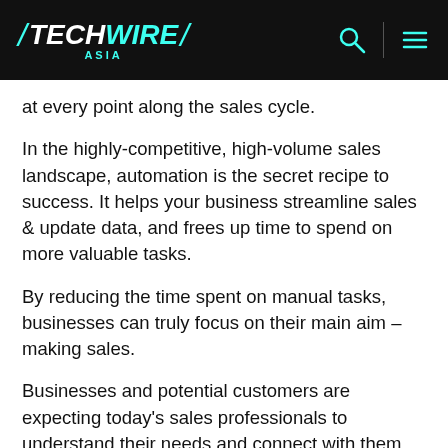TECHWIRE ASIA
at every point along the sales cycle.
In the highly-competitive, high-volume sales landscape, automation is the secret recipe to success. It helps your business streamline sales & update data, and frees up time to spend on more valuable tasks.
By reducing the time spent on manual tasks, businesses can truly focus on their main aim – making sales.
Businesses and potential customers are expecting today's sales professionals to understand their needs and connect with them on a more meaningful